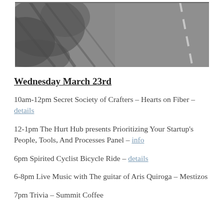[Figure (photo): Aerial or road-level photo of a road with tree shadows on asphalt, white lane marking visible on the right side.]
Wednesday March 23rd
10am-12pm Secret Society of Crafters – Hearts on Fiber – details
12-1pm The Hurt Hub presents Prioritizing Your Startup's People, Tools, And Processes Panel – info
6pm Spirited Cyclist Bicycle Ride – details
6-8pm Live Music with The guitar of Aris Quiroga – Mestizos
7pm Trivia – Summit Coffee